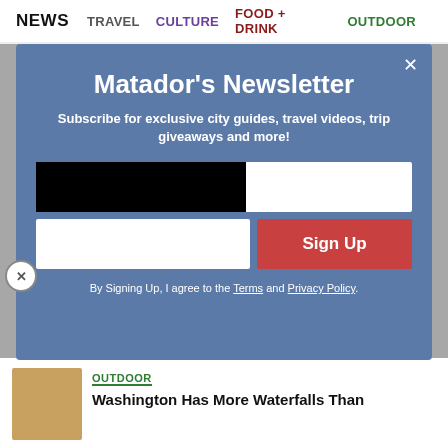NEWS   TRAVEL   CULTURE   FOOD + DRINK   OUTDOOR
[Figure (screenshot): Newsletter subscription modal popup on Matador Network website. Blue-grey modal with title 'Matador's Newsletter', subtitle 'Subscribe for exclusive city guides, travel videos, trip giveaways and more!', email input field, name input field, red Sign Up button, and terms text. A black video player box overlays the lower-left of the modal.]
Matador's Newsletter
Subscribe for exclusive city guides, travel videos, trip giveaways and more!
By Signing Up, I agree to the Terms and Privacy Policy.
OUTDOOR
Washington Has More Waterfalls Than